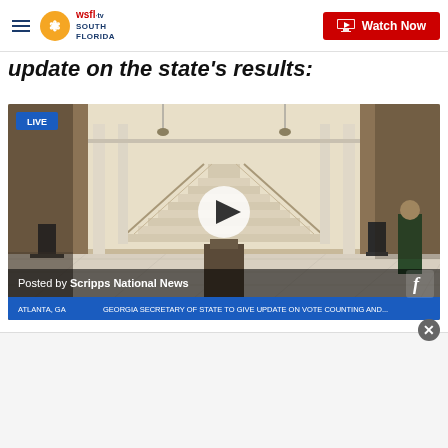WSFL-TV South Florida | Watch Now
update on the state's results:
[Figure (screenshot): Live video embed showing Georgia Secretary of State press conference in a marble-columned statehouse rotunda with grand staircase. LIVE badge top-left. Play button overlay in center. Posted by Scripps National News caption at bottom. Lower bar: ATLANTA, GA — GEORGIA SECRETARY OF STATE TO GIVE UPDATE ON VOTE COUNTING AND ...]